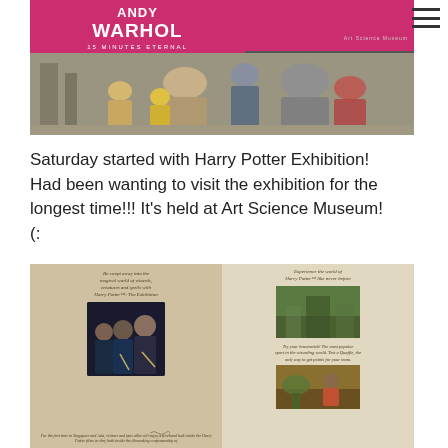[Figure (photo): Photo of people standing outside Art Science Museum in Singapore in front of an Andy Warhol: 15 Minutes Eternal exhibition banner]
Saturday started with Harry Potter Exhibition! Had been wanting to visit the exhibition for the longest time!!! It's held at Art Science Museum! (:
[Figure (photo): Photo of a Harry Potter exhibition brochure/booklet open to a spread showing Harry, Ron, and Hermione on the left page and exhibition hall photos on the right page]